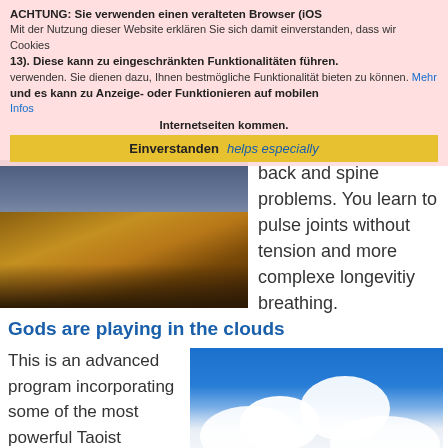ACHTUNG: Sie verwenden einen veralteten Browser (iOS 13). Diese kann zu eingeschränkten Funktionalitäten führen. Mit der Nutzung dieser Website erklären Sie sich damit einverstanden, dass wir Cookies verwenden. Sie dienen dazu, Ihnen bestmögliche Funktionalität bieten zu können. Mehr Infos
Einverstanden
back and spine problems. You learn to pulse joints without tension and more complexe longevitiy breathing.
[Figure (photo): Mountain landscape with golden/orange rocky mountains under a cloudy sky]
Gods are playing in the clouds
This is an advanced program incorporating some of the most powerful Taoist rejuvenation
[Figure (photo): Aerial view of clouds with blue sky above, white cumulus clouds below]